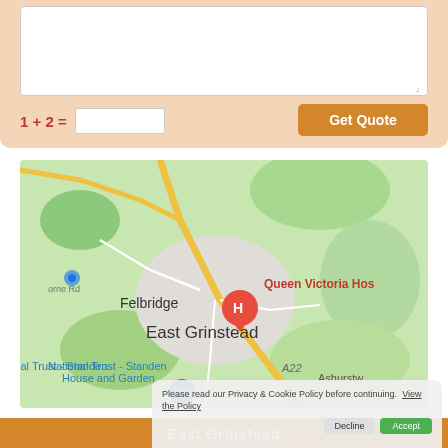[Figure (screenshot): Form section with textarea, CAPTCHA math question (1 + 2 =) with text input, and orange Get Quote button on peach/salmon background]
[Figure (map): Google Maps screenshot showing East Grinstead area in England, with Felbridge to the north, Queen Victoria Hospital marked with a red H pin, National Trust - Standen House and Garden to the south-west, A22 road, and Ashurst Wood to the east. A camera icon marker and Bramblety label also visible.]
Please read our Privacy & Cookie Policy before continuing. View the Policy
[Figure (screenshot): Orange banner at bottom with text 'East Grinstead']